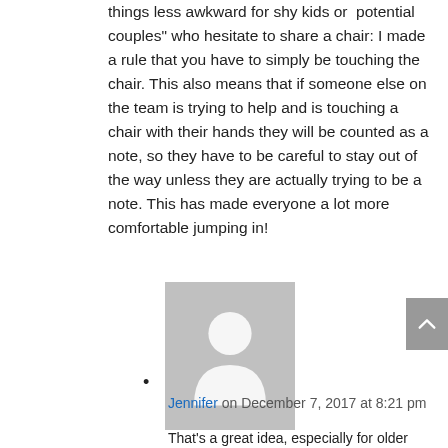things less awkward for shy kids or  potential couples" who hesitate to share a chair: I made a rule that you have to simply be touching the chair. This also means that if someone else on the team is trying to help and is touching a chair with their hands they will be counted as a note, so they have to be careful to stay out of the way unless they are actually trying to be a note. This has made everyone a lot more comfortable jumping in!
[Figure (illustration): Generic grey avatar/profile placeholder image showing a silhouette of a person]
Jennifer on December 7, 2017 at 8:21 pm
That's a great idea, especially for older students! I'm going to add it to the post 🙂